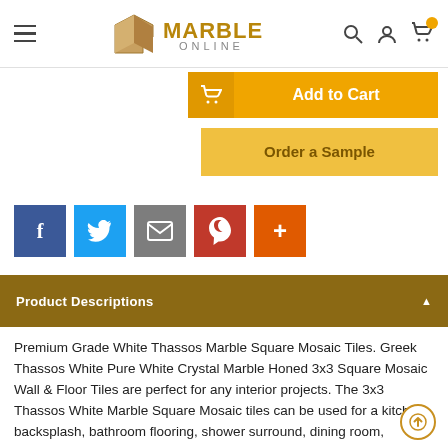Marble Online
[Figure (logo): Marble Online logo with stylized M and golden text]
[Figure (illustration): Add to Cart button (orange) and Order a Sample button (yellow-gold)]
[Figure (infographic): Social share buttons: Facebook, Twitter, Email, Pinterest, Plus]
Product Descriptions
Premium Grade White Thassos Marble Square Mosaic Tiles. Greek Thassos White Pure White Crystal Marble Honed 3x3 Square Mosaic Wall & Floor Tiles are perfect for any interior projects. The 3x3 Thassos White Marble Square Mosaic tiles can be used for a kitchen backsplash, bathroom flooring, shower surround, dining room, entryway, spa. Our timeless Matte White Thassos Marble Square Mosaic tiles with a large